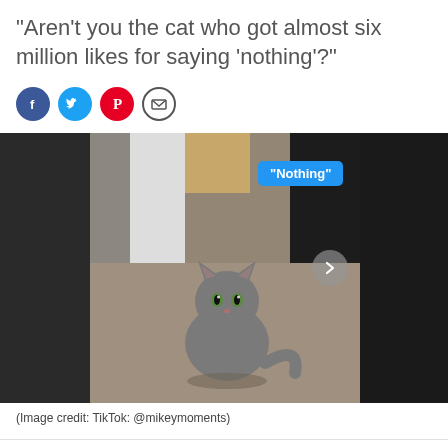"Aren't you the cat who got almost six million likes for saying 'nothing'?"
[Figure (screenshot): Social media share buttons: Facebook (blue), Twitter (blue), Pinterest (red), Email (outline)]
[Figure (photo): A gray fluffy cat sitting on carpet in a room, with a blue speech bubble overlay reading "Nothing"]
(Image credit: TikTok: @mikeymoments)